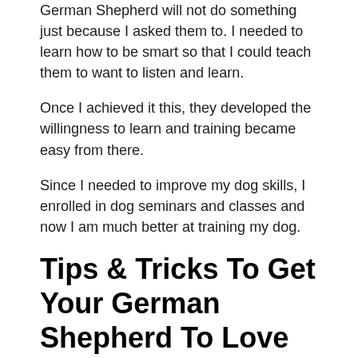German Shepherd will not do something just because I asked them to. I needed to learn how to be smart so that I could teach them to want to listen and learn.
Once I achieved it this, they developed the willingness to learn and training became easy from there.
Since I needed to improve my dog skills, I enrolled in dog seminars and classes and now I am much better at training my dog.
Tips & Tricks To Get Your German Shepherd To Love Water
[Figure (photo): Three-panel image showing water or a dog in water, with dark left and right panels and a lighter center panel.]